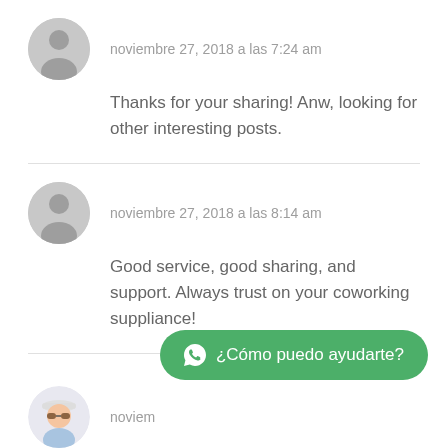noviembre 27, 2018 a las 7:24 am
Thanks for your sharing! Anw, looking for other interesting posts.
noviembre 27, 2018 a las 8:14 am
Good service, good sharing, and support. Always trust on your coworking suppliance!
[Figure (illustration): User avatar illustration with cap and sunglasses]
noviembre
Hi, this is a comment.
[Figure (other): WhatsApp chat button with text ¿Cómo puedo ayudarte?]